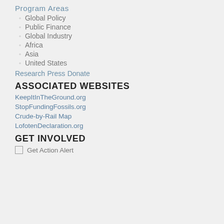Program Areas
Global Policy
Public Finance
Global Industry
Africa
Asia
United States
Research
Press
Donate
ASSOCIATED WEBSITES
KeepItInTheGround.org
StopFundingFossils.org
Crude-by-Rail Map
LofotenDeclaration.org
GET INVOLVED
Get Action Alert